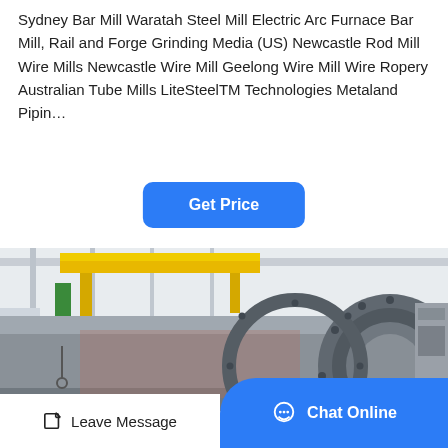Sydney Bar Mill Waratah Steel Mill Electric Arc Furnace Bar Mill, Rail and Forge Grinding Media (US) Newcastle Rod Mill Wire Mills Newcastle Wire Mill Geelong Wire Mill Wire Ropery Australian Tube Mills LiteSteelTM Technologies Metaland Pipin…
[Figure (other): Button labeled 'Get Price' in blue with rounded corners]
[Figure (photo): Industrial steel mill machinery: large cylindrical steel drum/roller in a factory setting with overhead yellow crane, industrial equipment visible in background]
Leave Message   Chat Online